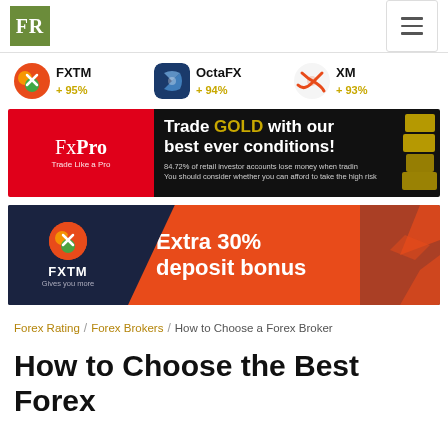FR | (hamburger menu)
FXTM + 95%   OctaFX + 94%   XM + 93%
[Figure (infographic): FxPro advertisement: Trade GOLD with our best ever conditions! 84.72% of retail investor accounts lose money when trading. You should consider whether you can afford to take the high risk.]
[Figure (infographic): FXTM advertisement: Extra 30% deposit bonus. Gives you more.]
Forex Rating / Forex Brokers / How to Choose a Forex Broker
How to Choose the Best Forex